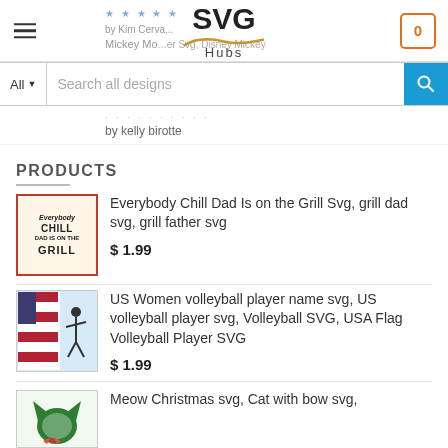SVG Hubs
by Kim Cerva
Mickey Mo... er Svg, Disney Mickey
by kelly birotte
PRODUCTS
Everybody Chill Dad Is on the Grill Svg, grill dad svg, grill father svg
$ 1.99
US Women volleyball player name svg, US volleyball player svg, Volleyball SVG, USA Flag Volleyball Player SVG
$ 1.99
Meow Christmas svg, Cat with bow svg,